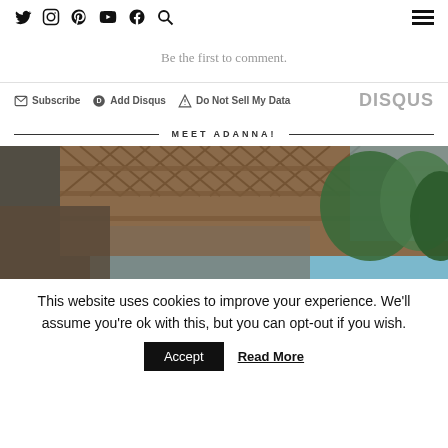Social icons: Twitter, Instagram, Pinterest, YouTube, Facebook, Search; Hamburger menu
Be the first to comment.
Subscribe   Add Disqus   Do Not Sell My Data   DISQUS
MEET ADANNA!
[Figure (photo): Close-up photo of an iron lattice bridge structure (Eiffel Tower style) with blue sky and green trees in background]
This website uses cookies to improve your experience. We'll assume you're ok with this, but you can opt-out if you wish.
Accept   Read More